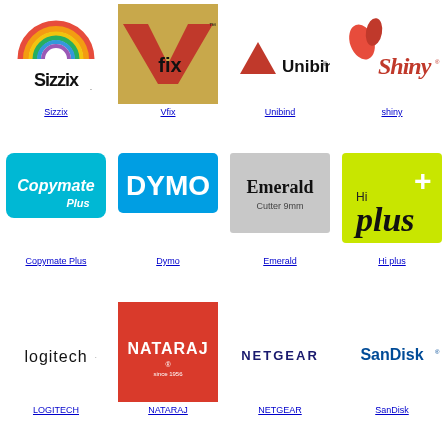[Figure (logo): Sizzix logo with rainbow arc]
Sizzix
[Figure (logo): Vfix logo red/black on gold background]
Vfix
[Figure (logo): Unibind logo with triangle]
Unibind
[Figure (logo): Shiny logo red decorative text]
shiny
[Figure (logo): Copymate Plus logo cyan]
Copymate Plus
[Figure (logo): DYMO logo white on blue]
Dymo
[Figure (logo): Emerald Cutter 9mm logo]
Emerald
[Figure (logo): Hi plus logo on yellow-green]
Hi plus
[Figure (logo): logitech logo black text]
LOGITECH
[Figure (logo): NATARAJ logo white on red]
NATARAJ
[Figure (logo): NETGEAR logo dark blue]
NETGEAR
[Figure (logo): SanDisk logo blue text]
SanDisk
[Figure (logo): Scotch logo yellow text on black]
Scotch
[Figure (logo): conqueror logo white on black]
conqueror
[Figure (logo): Marabu logo red circle and M]
Marabu
[Figure (logo): JOVI logo yellow oval red text]
JOVI